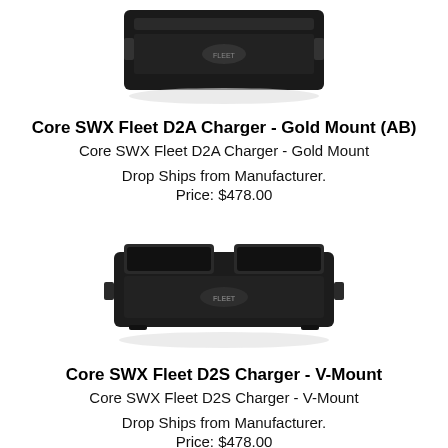[Figure (photo): Photo of Core SWX Fleet D2A Charger - Gold Mount (AB), top portion partially visible at top of page]
Core SWX Fleet D2A Charger - Gold Mount (AB)
Core SWX Fleet D2A Charger - Gold Mount
Drop Ships from Manufacturer.
Price: $478.00
[Figure (photo): Photo of Core SWX Fleet D2S Charger - V-Mount, a black dual battery charger unit]
Core SWX Fleet D2S Charger - V-Mount
Core SWX Fleet D2S Charger - V-Mount
Drop Ships from Manufacturer.
Price: $478.00